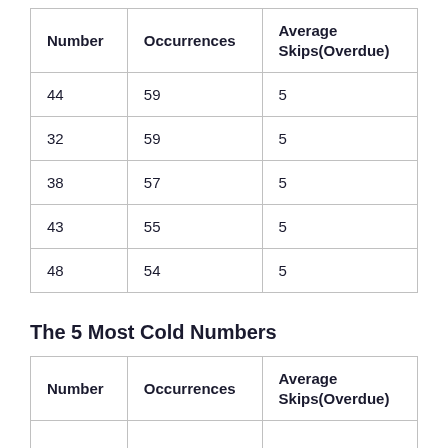| Number | Occurrences | Average Skips(Overdue) |
| --- | --- | --- |
| 44 | 59 | 5 |
| 32 | 59 | 5 |
| 38 | 57 | 5 |
| 43 | 55 | 5 |
| 48 | 54 | 5 |
The 5 Most Cold Numbers
| Number | Occurrences | Average Skips(Overdue) |
| --- | --- | --- |